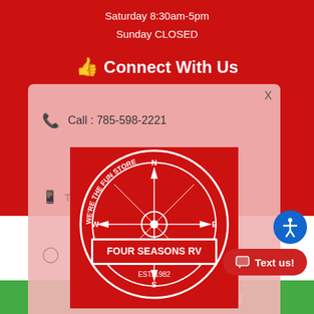Saturday 8:30am-5pm
Sunday CLOSED
Connect With Us
Call : 785-598-2221
Text: 785-598-2221
[Figure (logo): Four Seasons RV circular logo on red background, EST. 1982]
Thanks for visiting! What are you trying to achieve?
We'll do our best to guide you to the
© 2022 Four Seasons RV
RV Dealer Website Design
Privacy Policy
Sold RVs
Get a Grip on RV Shopping
Text us!